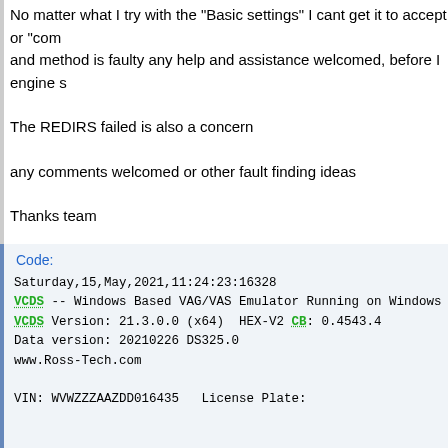No matter what I try with the "Basic settings" I cant get it to accept or "com and method is faulty any help and assistance welcomed, before I engine s
The REDIRS failed is also a concern
any comments welcomed or other fault finding ideas
Thanks team
here is the autoscan
Code:
Saturday,15,May,2021,11:24:23:16328
VCDS -- Windows Based VAG/VAS Emulator Running on Windows
VCDS Version: 21.3.0.0 (x64)  HEX-V2 CB: 0.4543.4
Data version: 20210226 DS325.0
www.Ross-Tech.com

VIN: WVWZZZAAZDD016435   License Plate:


Chassis Type: AA-VW12 (6N0)
Scan: 01 02 03 09 13 15 17 19 25 44 56 AD